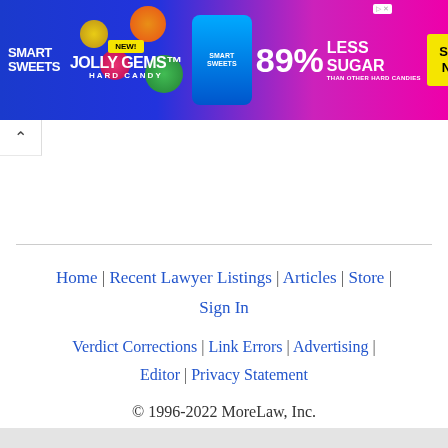[Figure (other): SmartSweets Jolly Gems Hard Candy advertisement banner — blue/pink gradient background, colorful candy images, '89% Less Sugar than other hard candies', 'Shop Now' yellow button]
^
Home | Recent Lawyer Listings | Articles | Store | Sign In
Verdict Corrections | Link Errors | Advertising | Editor | Privacy Statement
© 1996-2022 MoreLaw, Inc.